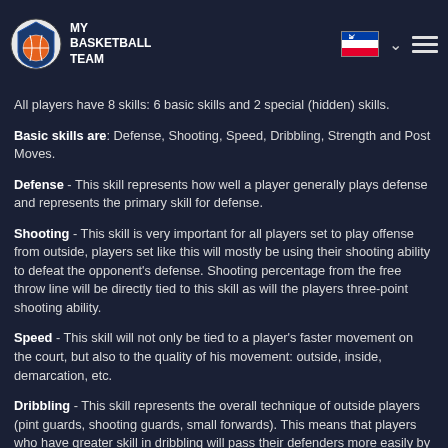All skills fall in the range from the minimum of 1 up to 30 which is the maximum for any skill.
All players have 8 skills: 6 basic skills and 2 special (hidden) skills.
Basic skills are: Defense, Shooting, Speed, Dribbling, Strength and Post Moves.
Defense - This skill represents how well a player generally plays defense and represents the primary skill for defense.
Shooting - This skill is very important for all players set to play offense from outside, players set like this will mostly be using their shooting ability to defeat the opponent's defense. Shooting percentage from the free throw line will be directly tied to this skill as will the players three-point shooting ability.
Speed - This skill will not only be tied to a player's faster movement on the court, but also to the quality of his movement: outside, inside, demarcation, etc.
Dribbling - This skill represents the overall technique of outside players (pint guards, shooting guards, small forwards). This means that players who have greater skill in dribbling will pass their defenders more easily by utilizing a variety of dribbling skill sets such as crossover, euro step, trough his legs, etc. It will also allow them to make a penetration and pass the ball to other players.